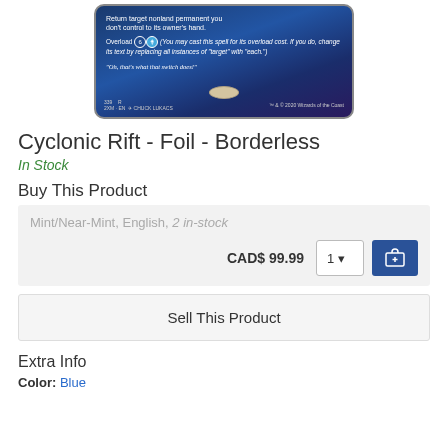[Figure (photo): Magic: The Gathering card image - Cyclonic Rift, showing card text about returning nonland permanents, Overload cost, and flavor text. Bottom shows set info: 339 R, 2XM EN, Chuck Lukacs, TM & 2020 Wizards of the Coast.]
Cyclonic Rift - Foil - Borderless
In Stock
Buy This Product
Mint/Near-Mint, English, 2 in-stock
CAD$ 99.99
Sell This Product
Extra Info
Color: Blue